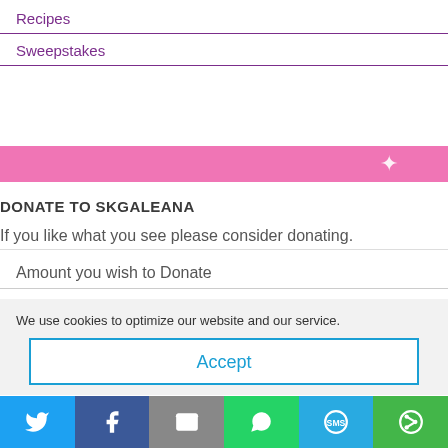Recipes
Sweepstakes
[Figure (other): Pink banner with a white star/sparkle icon on the right side]
DONATE TO SKGALEANA
If you like what you see please consider donating.
Amount you wish to Donate
We use cookies to optimize our website and our service.
Accept
[Figure (other): Social share bar with Twitter, Facebook, Email, WhatsApp, SMS, and More buttons]